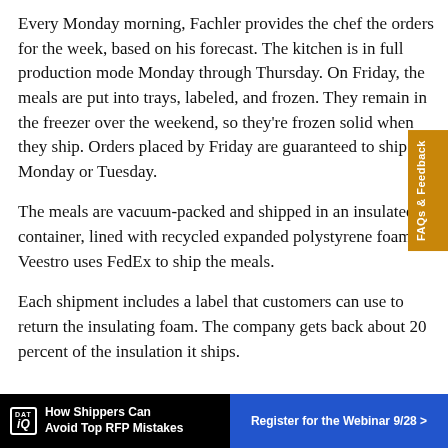Every Monday morning, Fachler provides the chef the orders for the week, based on his forecast. The kitchen is in full production mode Monday through Thursday. On Friday, the meals are put into trays, labeled, and frozen. They remain in the freezer over the weekend, so they're frozen solid when they ship. Orders placed by Friday are guaranteed to ship Monday or Tuesday.
The meals are vacuum-packed and shipped in an insulated container, lined with recycled expanded polystyrene foam. Veestro uses FedEx to ship the meals.
Each shipment includes a label that customers can use to return the insulating foam. The company gets back about 20 percent of the insulation it ships.
[Figure (other): Advertisement banner: DAT IQ logo on black background with text 'How Shippers Can Avoid Top RFP Mistakes' and blue button 'Register for the Webinar 9/28 >']